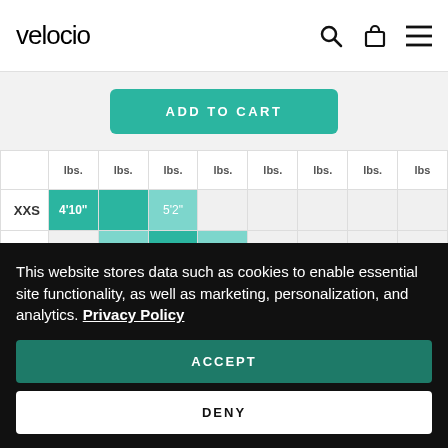velocio
ADD TO CART
|  | lbs. | lbs. | lbs. | lbs. | lbs. | lbs. | lbs. | lbs. |
| --- | --- | --- | --- | --- | --- | --- | --- | --- |
| XXS | 4'10" |  | 5'2" |  |  |  |  |  |
| XS |  | 5' |  | 5'7" |  |  |  |  |
| S |  |  | 5'1" |  | 5'9" |  |  |  |
| M |  |  |  | 5'4" |  | 5'10" |  |  |
This website stores data such as cookies to enable essential site functionality, as well as marketing, personalization, and analytics. Privacy Policy
ACCEPT
DENY